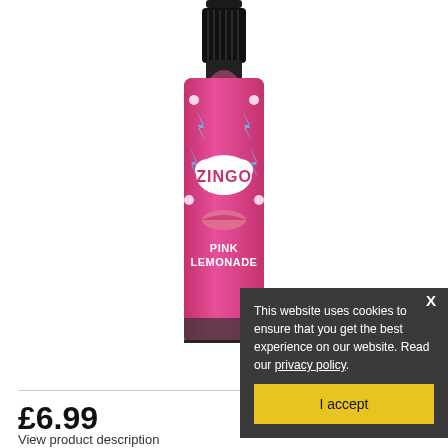[Figure (photo): A bottle of Zingo Pink Lemonade e-liquid/vape juice with a black cap and a bright pink label featuring the Zingo brand logo and 'Pink Lemonade' text, with lightning bolt and star graphics.]
This website uses cookies to ensure that you get the best experience on our website. Read our privacy policy.
I accept
£6.99
View product description